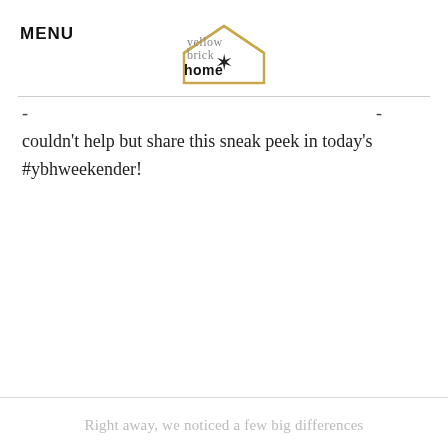MENU
[Figure (logo): Yellow Brick Home logo: text 'yellow brick home' with a house outline containing a star, in gold/black colors]
- -
couldn't help but share this sneak peek in today's #ybhweekender!
Right away, we noticed a few big differences